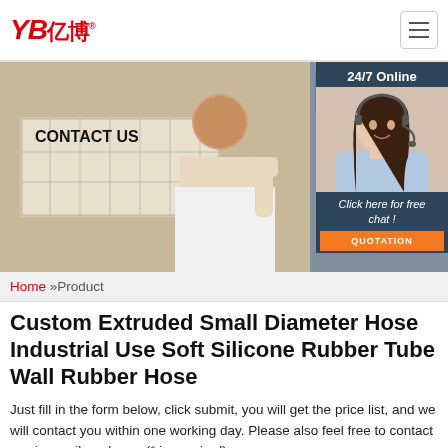[Figure (logo): YB亿博 company logo in red with registered trademark symbol]
[Figure (photo): Hero banner showing a man giving thumbs up at a 'CONTACT US' booth, with a customer service agent photo on the right side overlay]
[Figure (infographic): 24/7 Online chat widget with female customer service agent photo, 'Click here for free chat!' text, and orange QUOTATION button]
Home »Product
Custom Extruded Small Diameter Hose Industrial Use Soft Silicone Rubber Tube Wall Rubber Hose
Just fill in the form below, click submit, you will get the price list, and we will contact you within one working day. Please also feel free to contact us via email or phone. (* is required),